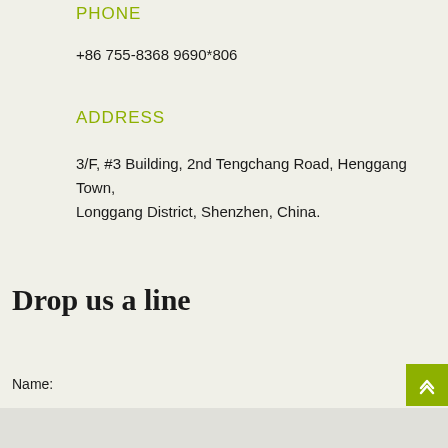PHONE
+86 755-8368 9690*806
ADDRESS
3/F, #3 Building, 2nd Tengchang Road, Henggang Town, Longgang District, Shenzhen, China.
Drop us a line
Name: